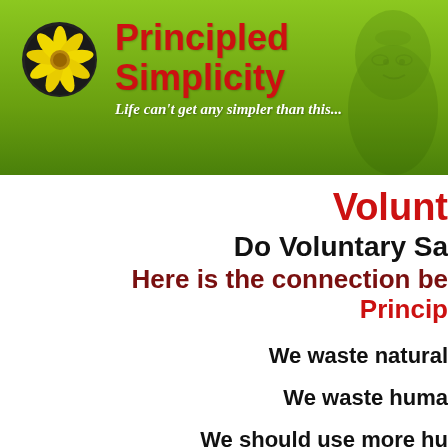[Figure (logo): Principled Simplicity website header banner with green gradient background, yellow flower in circle on left, site title 'Principled Simplicity' in red bold text, subtitle 'Life can't get any simpler than this...' in white italic, and faded Gandhi face on right]
Volunti
Do Voluntary Sa
Here is the connection be Princip
We waste natural
We waste huma
We should use more hu